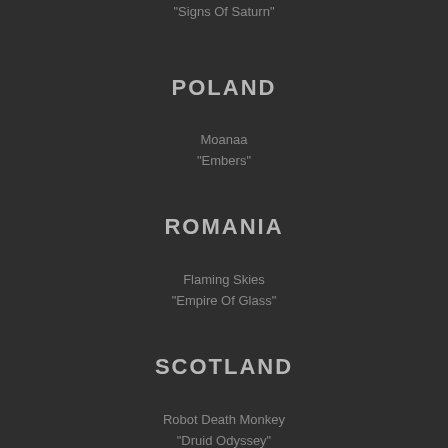"Signs Of Saturn"
POLAND
Moanaa
"Embers"
ROMANIA
Flaming Skies
"Empire Of Glass"
SCOTLAND
Robot Death Monkey
"Druid Odyssey"